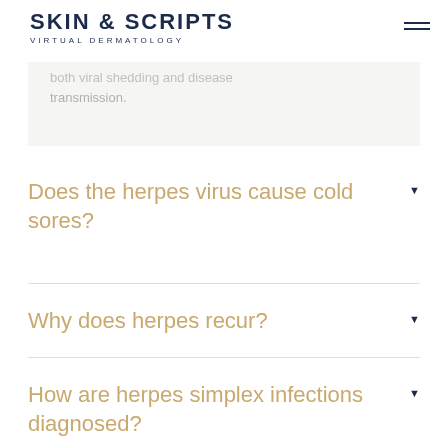SKIN & SCRIPTS VIRTUAL DERMATOLOGY
both viral shedding and disease transmission.
Does the herpes virus cause cold sores?
Why does herpes recur?
How are herpes simplex infections diagnosed?